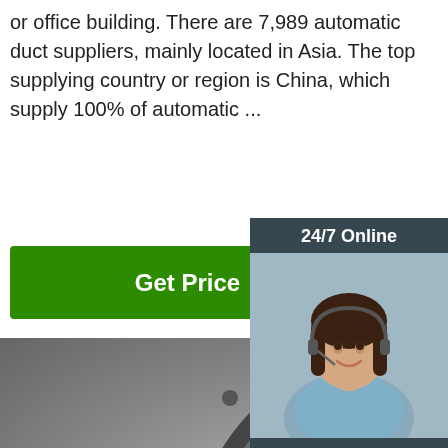or office building. There are 7,989 automatic duct suppliers, mainly located in Asia. The top supplying country or region is China, which supply 100% of automatic ...
[Figure (other): Green 'Get Price' button]
[Figure (other): Sidebar advertisement with '24/7 Online', photo of a woman with headset, 'Click here for free chat!' text, and orange 'QUOTATION' button on dark background]
[Figure (photo): Close-up photo of an industrial automatic duct machine component — a large circular metal flange/coupling with internal mechanical jaws and a red component visible inside, set against a metallic grey backdrop]